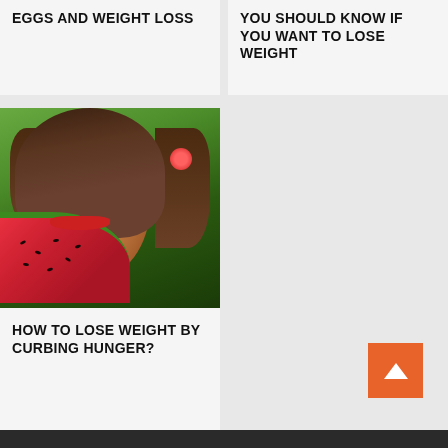EGGS AND WEIGHT LOSS
YOU SHOULD KNOW IF YOU WANT TO LOSE WEIGHT
[Figure (photo): Young woman with long dark hair holding a slice of watermelon, with a red flower in her hair, smiling outdoors with green background]
HOW TO LOSE WEIGHT BY CURBING HUNGER?